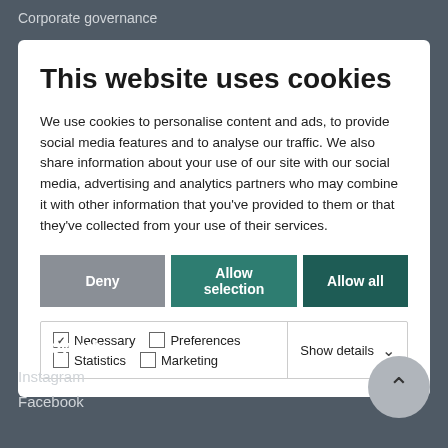Corporate governance
This website uses cookies
We use cookies to personalise content and ads, to provide social media features and to analyse our traffic. We also share information about your use of our site with our social media, advertising and analytics partners who may combine it with other information that you've provided to them or that they've collected from your use of their services.
Deny | Allow selection | Allow all
Necessary  Preferences  Statistics  Marketing  Show details
Follow us
Instagram
Facebook